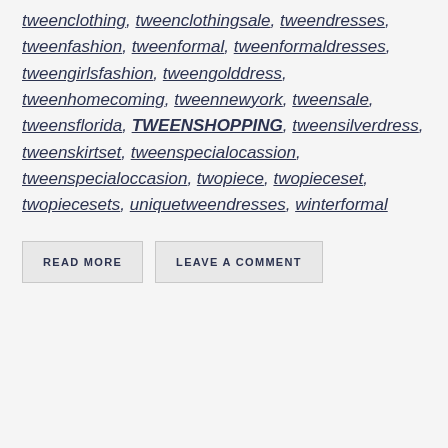tweenclothing, tweenclothingsale, tweendresses, tweenfashion, tweenformal, tweenformaldresses, tweengirlsfashion, tweengolddress, tweenhomecoming, tweennewyork, tweensale, tweensflorida, TWEENSHOPPING, tweensilverdress, tweenskirtset, tweenspecialocassion, tweenspecialoccasion, twopiece, twopieceset, twopiecesets, uniquetweendresses, winterformal
READ MORE
LEAVE A COMMENT